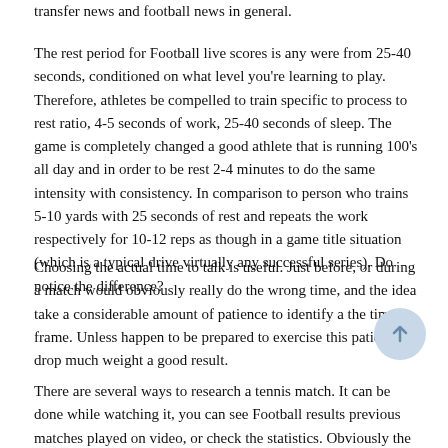transfer news and football news in general.
The rest period for Football live scores is any were from 25-40 seconds, conditioned on what level you're learning to play. Therefore, athletes be compelled to train specific to process to rest ratio, 4-5 seconds of work, 25-40 seconds of sleep. The game is completely changed a good athlete that is running 100's all day and in order to be rest 2-4 minutes to do the same intensity with consistency. In comparison to person who trains 5-10 yards with 25 seconds of rest and repeats the work respectively for 10-12 reps as though in a game title situation (which is a typical drive virtually any successful series). Do notice the difference?
Choosing the actual time to talk is useful. Just before, or during a match would obviously really do the wrong time, and the idea take a considerable amount of patience to identify a the time frame. Unless happen to be prepared to exercise this patience, drop much weight a good result.
There are several ways to research a tennis match. It can be done while watching it, you can see Football results previous matches played on video, or check the statistics. Obviously the fastest way might be to